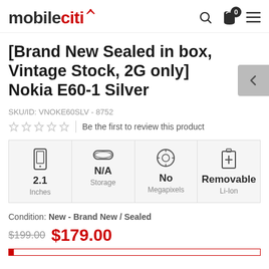[Figure (logo): Mobileciti logo with red signal icon]
[Brand New Sealed in box, Vintage Stock, 2G only] Nokia E60-1 Silver
SKU/ID: VNOKE60SLV - 8752
Be the first to review this product
| Screen | Storage | Camera | Battery |
| --- | --- | --- | --- |
| 2.1 Inches | N/A Storage | No Megapixels | Removable Li-Ion |
Condition: New - Brand New / Sealed
$199.00  $179.00